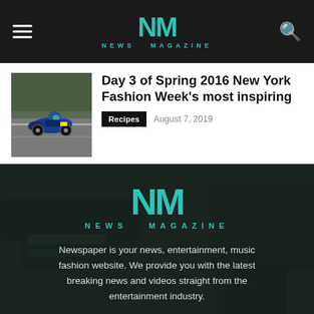NM NEWS MAGAZINE
Day 3 of Spring 2016 New York Fashion Week's most inspiring
Recipes   August 7, 2019
[Figure (photo): Motorcycle racer on a racing circuit, dark green foliage background]
[Figure (logo): NM News Magazine logo centered on dark background with tagline text]
Newspaper is your news, entertainment, music fashion website. We provide you with the latest breaking news and videos straight from the entertainment industry.